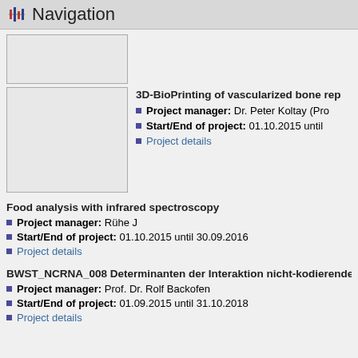Navigation
[Figure (other): Placeholder image box (top, smaller)]
[Figure (other): Placeholder image box (larger)]
3D-BioPrinting of vascularized bone rep
Project manager: Dr. Peter Koltay (Pro
Start/End of project: 01.10.2015 until
Project details
Food analysis with infrared spectroscopy
Project manager: Rühe J
Start/End of project: 01.10.2015 until 30.09.2016
Project details
BWST_NCRNA_008 Determinanten der Interaktion nicht-kodierende
Project manager: Prof. Dr. Rolf Backofen
Start/End of project: 01.09.2015 until 31.10.2018
Project details